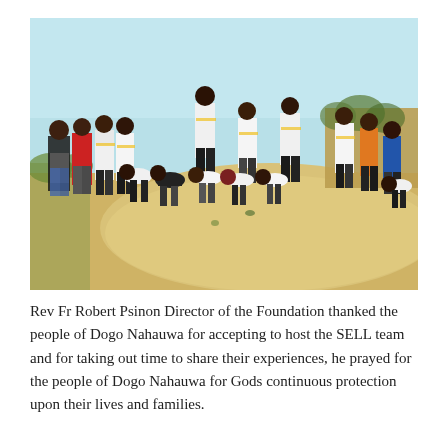[Figure (photo): A group of people, many wearing matching white and black/yellow uniforms, standing and bending over in an outdoor area with sandy/dusty ground. A man in a red shirt is visible on the left. The background shows a light blue sky and some brick walls or structures.]
Rev Fr Robert Psinon Director of the Foundation thanked the people of Dogo Nahauwa for accepting to host the SELL team and for taking out time to share their experiences, he prayed for the people of Dogo Nahauwa for Gods continuous protection upon their lives and families.